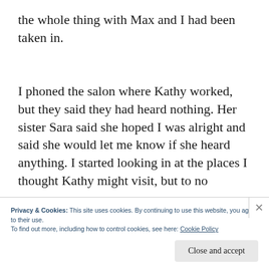the whole thing with Max and I had been taken in.
I phoned the salon where Kathy worked, but they said they had heard nothing. Her sister Sara said she hoped I was alright and said she would let me know if she heard anything. I started looking in at the places I thought Kathy might visit, but to no
Privacy & Cookies: This site uses cookies. By continuing to use this website, you agree to their use.
To find out more, including how to control cookies, see here: Cookie Policy
Close and accept